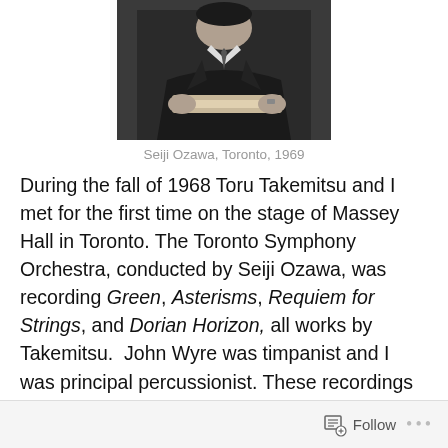[Figure (photo): Black and white photograph of Seiji Ozawa, Toronto, 1969, showing a man in dark suit holding papers]
Seiji Ozawa, Toronto, 1969
During the fall of 1968 Toru Takemitsu and I met for the first time on the stage of Massey Hall in Toronto. The Toronto Symphony Orchestra, conducted by Seiji Ozawa, was recording Green, Asterisms, Requiem for Strings, and Dorian Horizon, all works by Takemitsu.  John Wyre was timpanist and I was principal percussionist. These recordings are on Japan RCA Victor Gold Seal CD 90-2-21.
Follow ...